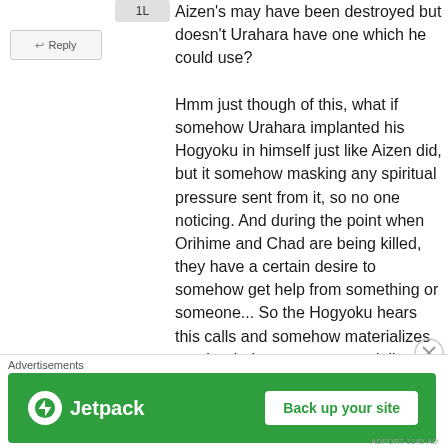1L
← Reply
Aizen's may have been destroyed but doesn't Urahara have one which he could use?

Hmm just though of this, what if somehow Urahara implanted his Hogyoku in himself just like Aizen did, but it somehow masking any spiritual pressure sent from it, so no one noticing. And during the point when Orihime and Chad are being killed, they have a certain desire to somehow get help from something or someone... So the Hogyoku hears this calls and somehow materializes another being or even materializes Urahara's
Advertisements
[Figure (screenshot): Jetpack advertisement banner with green background, Jetpack logo on left, and 'Back up your site' button on right]